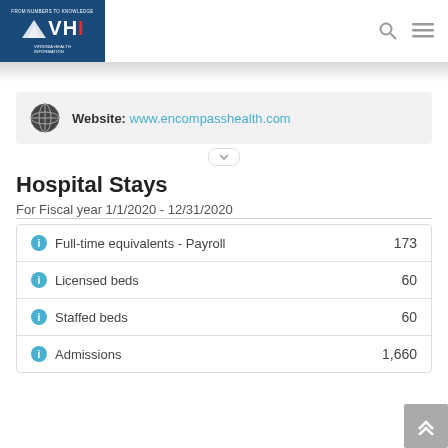VHI Virginia Health Information - FROM NUMBERS TO KNOWLEDGE
Website: www.encompasshealth.com
Hospital Stays
For Fiscal year 1/1/2020 - 12/31/2020
|  |  |
| --- | --- |
| Full-time equivalents - Payroll | 173 |
| Licensed beds | 60 |
| Staffed beds | 60 |
| Admissions | 1,660 |